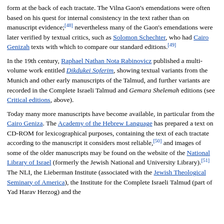...further emendations by Solomon Luria are set out in commentary form at the back of each tractate. The Vilna Gaon's emendations were often based on his quest for internal consistency in the text rather than on manuscript evidence;[48] nevertheless many of the Gaon's emendations were later verified by textual critics, such as Solomon Schechter, who had Cairo Genizah texts with which to compare our standard editions.[49]
In the 19th century, Raphael Nathan Nota Rabinovicz published a multi-volume work entitled Dikdukei Soferim, showing textual variants from the Munich and other early manuscripts of the Talmud, and further variants are recorded in the Complete Israeli Talmud and Gemara Shelemah editions (see Critical editions, above).
Today many more manuscripts have become available, in particular from the Cairo Geniza. The Academy of the Hebrew Language has prepared a text on CD-ROM for lexicographical purposes, containing the text of each tractate according to the manuscript it considers most reliable,[50] and images of some of the older manuscripts may be found on the website of the National Library of Israel (formerly the Jewish National and University Library).[51] The NLI, the Lieberman Institute (associated with the Jewish Theological Seminary of America), the Institute for the Complete Israeli Talmud (part of Yad Harav Herzog) and the